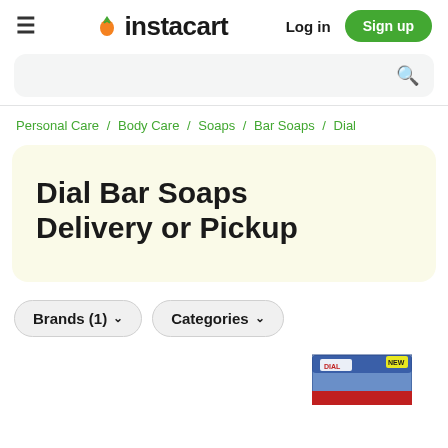instacart — Log in  Sign up
Personal Care / Body Care / Soaps / Bar Soaps / Dial
Dial Bar Soaps Delivery or Pickup
Brands (1)  Categories
[Figure (photo): Partial view of a Dial bar soap product box at the bottom right of the page]